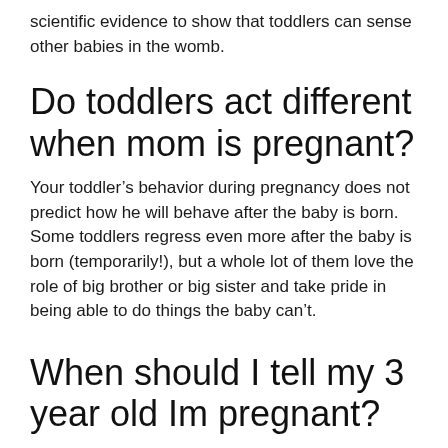scientific evidence to show that toddlers can sense other babies in the womb.
Do toddlers act different when mom is pregnant?
Your toddler’s behavior during pregnancy does not predict how he will behave after the baby is born. Some toddlers regress even more after the baby is born (temporarily!), but a whole lot of them love the role of big brother or big sister and take pride in being able to do things the baby can’t.
When should I tell my 3 year old Im pregnant?